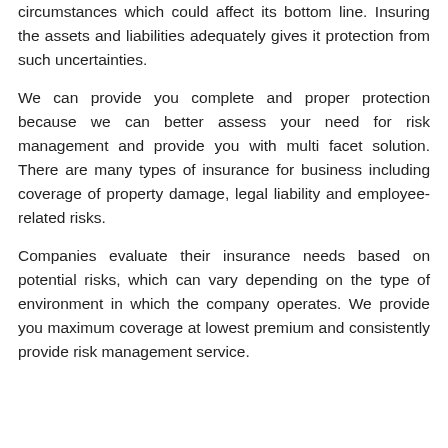circumstances which could affect its bottom line. Insuring the assets and liabilities adequately gives it protection from such uncertainties.
We can provide you complete and proper protection because we can better assess your need for risk management and provide you with multi facet solution. There are many types of insurance for business including coverage of property damage, legal liability and employee-related risks.
Companies evaluate their insurance needs based on potential risks, which can vary depending on the type of environment in which the company operates. We provide you maximum coverage at lowest premium and consistently provide risk management service.